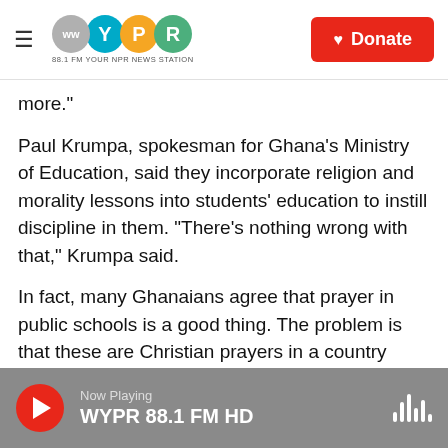WYPR 88.1 FM YOUR NPR NEWS STATION | Donate
more."
Paul Krumpa, spokesman for Ghana's Ministry of Education, said they incorporate religion and morality lessons into students' education to instill discipline in them. “There’s nothing wrong with that,” Krumpa said.
In fact, many Ghanaians agree that prayer in public schools is a good thing. The problem is that these are Christian prayers in a country that’s 78 percent Christian and 18 percent Muslim.
Krumpa said he doesn’t believe a school “forces
Now Playing WYPR 88.1 FM HD